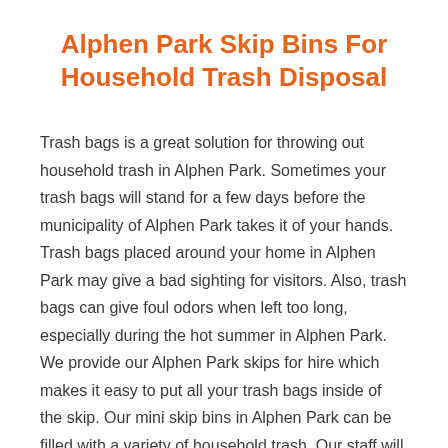Alphen Park Skip Bins For Household Trash Disposal
Trash bags is a great solution for throwing out household trash in Alphen Park. Sometimes your trash bags will stand for a few days before the municipality of Alphen Park takes it of your hands. Trash bags placed around your home in Alphen Park may give a bad sighting for visitors. Also, trash bags can give foul odors when left too long, especially during the hot summer in Alphen Park. We provide our Alphen Park skips for hire which makes it easy to put all your trash bags inside of the skip. Our mini skip bins in Alphen Park can be filled with a variety of household trash. Our staff will drop the mini skip bin off at your home in Alphen Park, you fill it up with all your household trash and